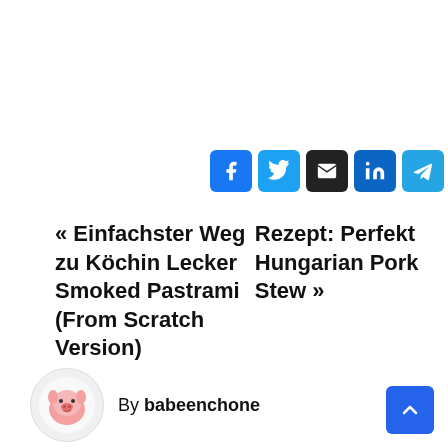[Figure (other): Social share buttons row: Facebook (blue), Twitter (light blue), Email (black), LinkedIn (blue), Telegram (blue), Pinterest (red)]
« Einfachster Weg zu Köchin Lecker Smoked Pastrami (From Scratch Version)
Rezept: Perfekt Hungarian Pork Stew »
By babeenchone
[Figure (illustration): Circular author avatar with a cartoon pig/character illustration]
[Figure (other): Back to top button — blue square with upward chevron arrow]